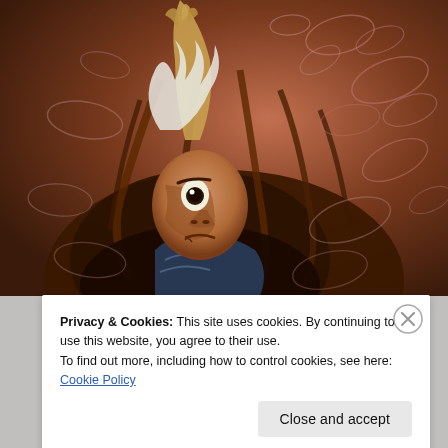[Figure (illustration): Animated-style illustration of a dark, atmospheric scene. A figure with wild hair and a surprised/frightened expression looks upward. The figure is holding something raised above. Background features warm reddish-brown tones with swirling oval/ellipse shapes drawn in lighter strokes throughout the composition.]
Privacy & Cookies: This site uses cookies. By continuing to use this website, you agree to their use.
To find out more, including how to control cookies, see here: Cookie Policy
Close and accept